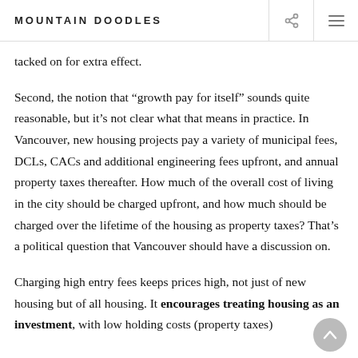MOUNTAIN DOODLES
tacked on for extra effect.
Second, the notion that “growth pay for itself” sounds quite reasonable, but it’s not clear what that means in practice. In Vancouver, new housing projects pay a variety of municipal fees, DCLs, CACs and additional engineering fees upfront, and annual property taxes thereafter. How much of the overall cost of living in the city should be charged upfront, and how much should be charged over the lifetime of the housing as property taxes? That’s a political question that Vancouver should have a discussion on.
Charging high entry fees keeps prices high, not just of new housing but of all housing. It encourages treating housing as an investment, with low holding costs (property taxes)